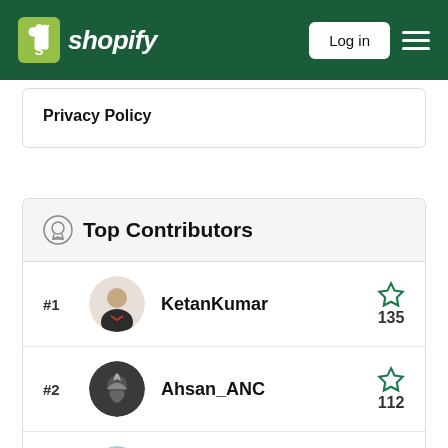Shopify — Log in
Privacy Policy
Top Contributors
#1 KetanKumar — 135
#2 Ahsan_ANC — 112
#3 Made4Uo — 63